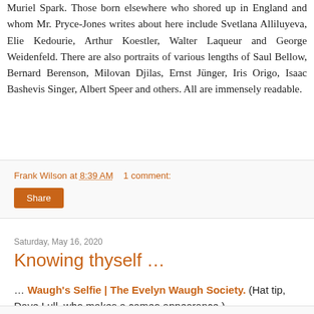Muriel Spark. Those born elsewhere who shored up in England and whom Mr. Pryce-Jones writes about here include Svetlana Alliluyeva, Elie Kedourie, Arthur Koestler, Walter Laqueur and George Weidenfeld. There are also portraits of various lengths of Saul Bellow, Bernard Berenson, Milovan Djilas, Ernst Jünger, Iris Origo, Isaac Bashevis Singer, Albert Speer and others. All are immensely readable.
Frank Wilson at 8:39 AM   1 comment:
Share
Saturday, May 16, 2020
Knowing thyself …
… Waugh's Selfie | The Evelyn Waugh Society. (Hat tip, Dave Lull, who makes a cameo appearance.)